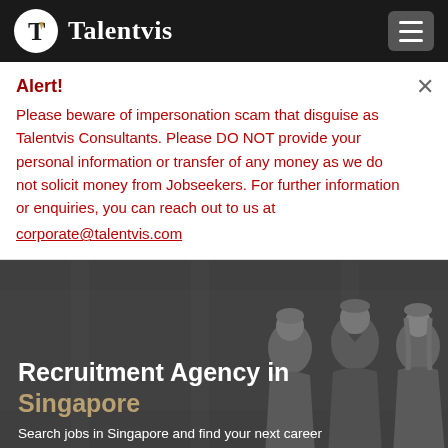Talentvis
Alert! Please beware of impersonation scam that disguise as Talentvis Consultants. Please DO NOT provide your personal information or transfer of any money as we do not solicit money from Jobseekers. For further information or enquiries, you can reach out to us at corporate@talentvis.com
[Figure (photo): Background photo of three young professionals in business attire, black and white, overlaid with text 'Recruitment Agency in Singapore' and subtitle 'Search jobs in Singapore and find your next career']
Recruitment Agency in Singapore
Search jobs in Singapore and find your next career